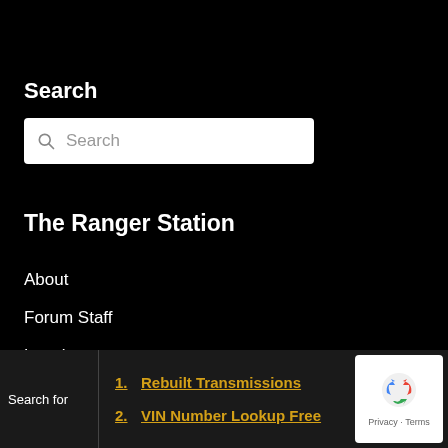Search
[Figure (screenshot): Search input box with magnifying glass icon and placeholder text 'Search']
The Ranger Station
About
Forum Staff
Legal
Advertising
Search for
1. Rebuilt Transmissions
2. VIN Number Lookup Free
[Figure (logo): reCAPTCHA badge with Privacy and Terms text]